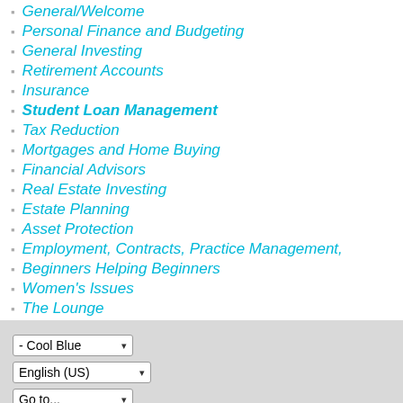General/Welcome
Personal Finance and Budgeting
General Investing
Retirement Accounts
Insurance
Student Loan Management
Tax Reduction
Mortgages and Home Buying
Financial Advisors
Real Estate Investing
Estate Planning
Asset Protection
Employment, Contracts, Practice Management,
Beginners Helping Beginners
Women's Issues
The Lounge
Copyright 2020 - The White Coat Investor, LLC
Powered by vBulletin® Version 5.6.9
Copyright © 2022 MH Sub I, LLC dba vBulletin. All rights reserved.
All times are GMT-7. This page was generated at 11:42 PM.